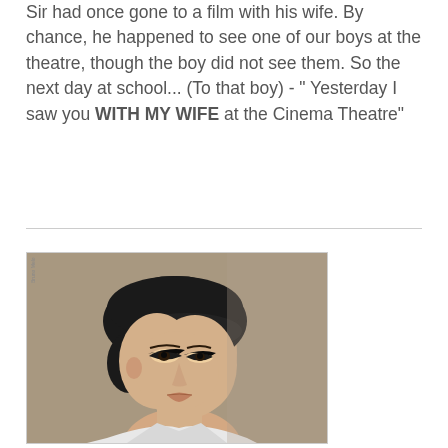Sir had once gone to a film with his wife. By chance, he happened to see one of our boys at the theatre, though the boy did not see them. So the next day at school... (To that boy) - " Yesterday I saw you WITH MY WIFE at the Cinema Theatre"
[Figure (photo): Portrait photo of a young woman wearing a dark black beret and white collared top, with dramatic cat-eye makeup, against a grey background. The photo has a fashion/editorial style.]